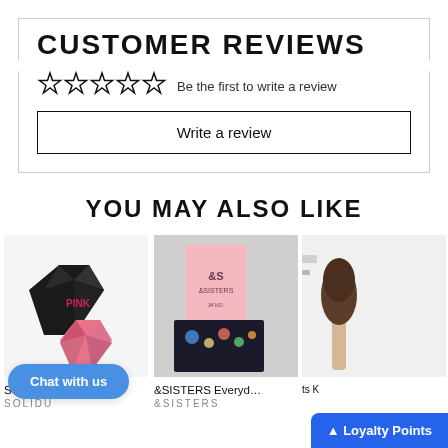CUSTOMER REVIEWS
☆☆☆☆☆  Be the first to write a review
Write a review
YOU MAY ALSO LIKE
[Figure (photo): Solidu Pink Normal Hair product photo showing black geometric gem-shaped solid shampoo bar and a pink diamond-shaped bar]
Solidu Pink Normal Hair
SOLIDU
[Figure (photo): &SISTERS Everyday product packaging photo - pink box with &SISTERS logo and a black card with colorful spots]
&SISTERS Everyday
&SISTERS
[Figure (photo): Partial product image showing a makeup brush with wooden handle and dark bristles against a white background]
ts K
Chat with us
▲ Loyalty Points